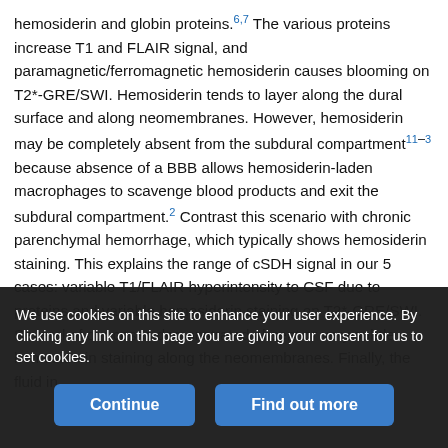hemosiderin and globin proteins.6,7 The various proteins increase T1 and FLAIR signal, and paramagnetic/ferromagnetic hemosiderin causes blooming on T2*-GRE/SWI. Hemosiderin tends to layer along the dural surface and along neomembranes. However, hemosiderin may be completely absent from the subdural compartment11–3 because absence of a BBB allows hemosiderin-laden macrophages to scavenge blood products and exit the subdural compartment.2 Contrast this scenario with chronic parenchymal hemorrhage, which typically shows hemosiderin staining. This explains the range of cSDH signal in our 5 cases: variable T1/FLAIR hyperintensity to CSF due to proteins and variable hemosiderin staining on T2*-GRE/SWI. Several of our cases demonstrated absent or very subtle hemosiderin staining along the neomembranes. Finally, the fluid in
We use cookies on this site to enhance your user experience. By clicking any link on this page you are giving your consent for us to set cookies.